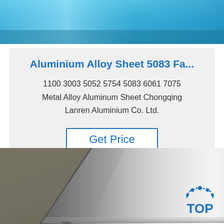[Figure (photo): Top portion of image showing aluminium sheet with blue/teal reflective surface]
Aluminium Alloy Sheet 5083 Fa...
1100 3003 5052 5754 5083 6061 7075 Metal Alloy Aluminum Sheet Chongqing Lanren Aluminium Co. Ltd.
Get Price
[Figure (photo): Aluminium metal sheets stacked, showing reflective silver surface with TOP logo overlay in bottom right corner]